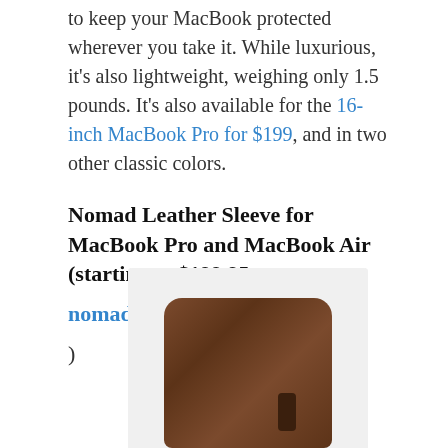to keep your MacBook protected wherever you take it. While luxurious, it's also lightweight, weighing only 1.5 pounds. It's also available for the 16-inch MacBook Pro for $199, and in two other classic colors.
Nomad Leather Sleeve for MacBook Pro and MacBook Air (starting at $199.95;
nomadgoods.com
)
[Figure (photo): Photo of a brown leather MacBook sleeve/case viewed from above, showing the top surface with a small notch or pull tab on the right side, set against a light gray background.]